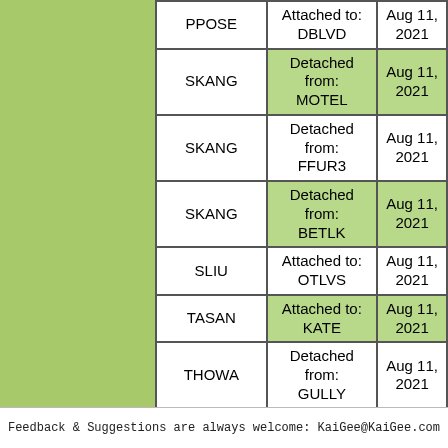|  | Action | Date |
| --- | --- | --- |
| PPOSE | Attached to: DBLVD | Aug 11, 2021 |
| SKANG | Detached from: MOTEL | Aug 11, 2021 |
| SKANG | Detached from: FFUR3 | Aug 11, 2021 |
| SKANG | Detached from: BETLK | Aug 11, 2021 |
| SLIU | Attached to: OTLVS | Aug 11, 2021 |
| TASAN | Attached to: KATE | Aug 11, 2021 |
| THOWA | Detached from: GULLY | Aug 11, 2021 |
| TROCK | Attached to: BTILC | Aug 11, 2021 |
| VKRIE | Detached from: BTBMD | Aug 11, 2021 |
| WHARR | Attached to: KATE | Aug 11, 2021 |
Feedback & Suggestions are always welcome: KaiGee@KaiGee.com